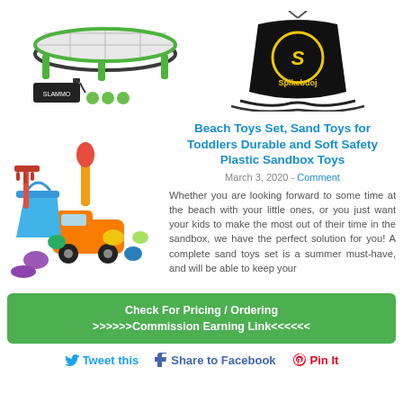[Figure (photo): Two product photos side by side: left is a Slammo spikeball game set with green frame, net, balls and pump; right is a Spikebuoy bag with resistance bands/bungee equipment.]
Beach Toys Set, Sand Toys for Toddlers Durable and Soft Safety Plastic Sandbox Toys
March 3, 2020 - Comment
[Figure (photo): Colorful beach/sandbox toy set including buckets, shovels, rake, sand molds (animals, stars), and a toy truck, all in bright colors.]
Whether you are looking forward to some time at the beach with your little ones, or you just want your kids to make the most out of their time in the sandbox, we have the perfect solution for you! A complete sand toys set is a summer must-have, and will be able to keep your
Check For Pricing / Ordering >>>>>>Commission Earning Link<<<<<<
Tweet this  Share to Facebook  Pin It